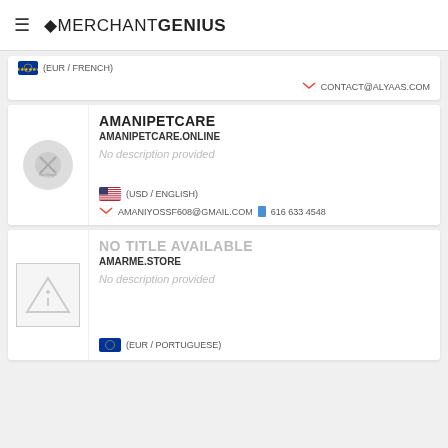MERCHANT GENIUS
(EUR / FRENCH)
CONTACT@ALYAAS.COM
AMANIPETCARE
AMANIPETCARE.ONLINE
No description provided
(USD / ENGLISH)
AMANIYOSSF608@GMAIL.COM  616 633 4548
NO TITLE AVAILABLE
AMARME.STORE
No description provided
(EUR / PORTUGUESE)